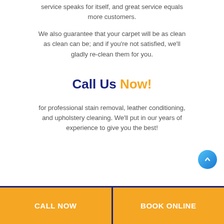service speaks for itself, and great service equals more customers.
We also guarantee that your carpet will be as clean as clean can be; and if you're not satisfied, we'll gladly re-clean them for you.
Call Us Now!
for professional stain removal, leather conditioning, and upholstery cleaning. We'll put in our years of experience to give you the best!
CALL NOW
BOOK ONLINE